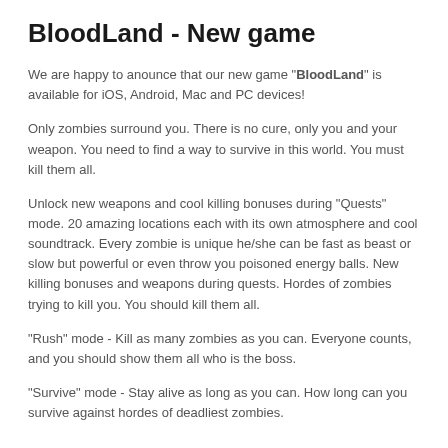BloodLand - New game
We are happy to anounce that our new game "BloodLand" is available for iOS, Android, Mac and PC devices!
Only zombies surround you. There is no cure, only you and your weapon. You need to find a way to survive in this world. You must kill them all.
Unlock new weapons and cool killing bonuses during "Quests" mode. 20 amazing locations each with its own atmosphere and cool soundtrack. Every zombie is unique he/she can be fast as beast or slow but powerful or even throw you poisoned energy balls. New killing bonuses and weapons during quests. Hordes of zombies trying to kill you. You should kill them all.
"Rush" mode - Kill as many zombies as you can. Everyone counts, and you should show them all who is the boss.
"Survive" mode - Stay alive as long as you can. How long can you survive against hordes of deadliest zombies.